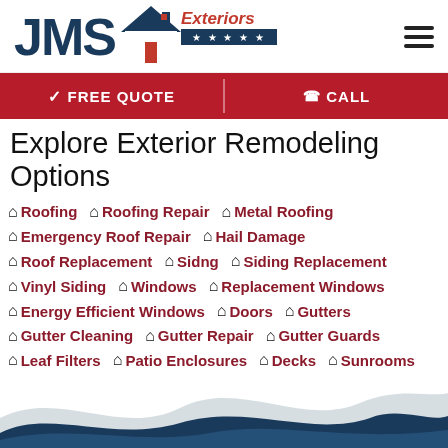[Figure (logo): JMS Exteriors logo with house icon, red Exteriors text, and blue stars bar]
✓ FREE QUOTE   ☎ CALL
Explore Exterior Remodeling Options
Roofing   Roofing Repair   Metal Roofing
Emergency Roof Repair   Hail Damage
Roof Replacement   Sidng   Siding Replacement
Vinyl Siding   Windows   Replacement Windows
Energy Efficient Windows   Doors   Gutters
Gutter Cleaning   Gutter Repair   Gutter Guards
Leaf Filters   Patio Enclosures   Decks   Sunrooms